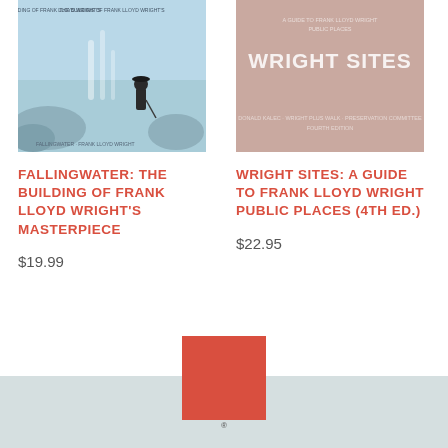[Figure (photo): Book cover of Fallingwater: The Building of Frank Lloyd Wright's Masterpiece, showing an illustrated figure of a man standing near a waterfall with rocky landscape, light blue tones.]
[Figure (photo): Book cover of Wright Sites: A Guide to Frank Lloyd Wright Public Places (4th Ed.), plain dusty rose/pink cover with title text in light color.]
FALLINGWATER: THE BUILDING OF FRANK LLOYD WRIGHT'S MASTERPIECE
$19.99
WRIGHT SITES: A GUIDE TO FRANK LLOYD WRIGHT PUBLIC PLACES (4TH ED.)
$22.95
[Figure (logo): Red/coral square logo block in the footer area, centered, partially overlapping the grey footer bar.]